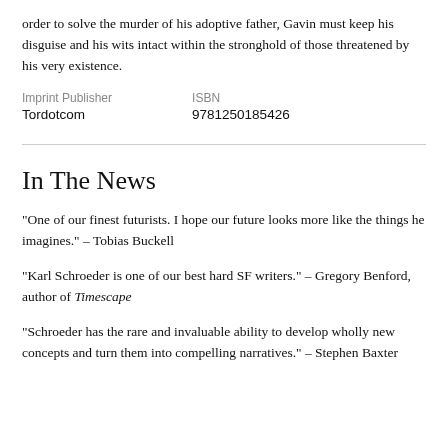order to solve the murder of his adoptive father, Gavin must keep his disguise and his wits intact within the stronghold of those threatened by his very existence.
| Imprint Publisher | ISBN |
| --- | --- |
| Tordotcom | 9781250185426 |
In The News
"One of our finest futurists. I hope our future looks more like the things he imagines." – Tobias Buckell
"Karl Schroeder is one of our best hard SF writers." – Gregory Benford, author of Timescape
"Schroeder has the rare and invaluable ability to develop wholly new concepts and turn them into compelling narratives." – Stephen Baxter